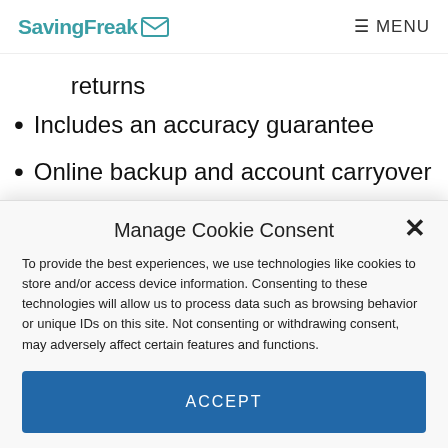SavingFreak  MENU
returns
Includes an accuracy guarantee
Online backup and account carryover
Manage Cookie Consent
To provide the best experiences, we use technologies like cookies to store and/or access device information. Consenting to these technologies will allow us to process data such as browsing behavior or unique IDs on this site. Not consenting or withdrawing consent, may adversely affect certain features and functions.
ACCEPT
Cookie Policy